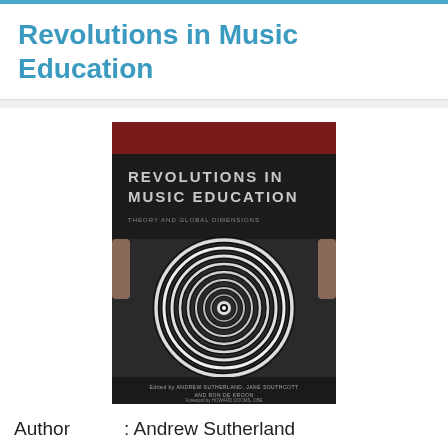Revolutions in Music Education
[Figure (photo): Book cover of 'Revolutions in Music Education' showing black and white hypnotic concentric circle spiral pattern with dark red/maroon header strip. Text on cover reads 'REVOLUTIONS IN MUSIC EDUCATION' and smaller subtitle text, edited by Andrew Sutherland, Jane Southcott and Ron de Kroon, Foreword by Howard Dooms, OBE.]
Author       : Andrew Sutherland